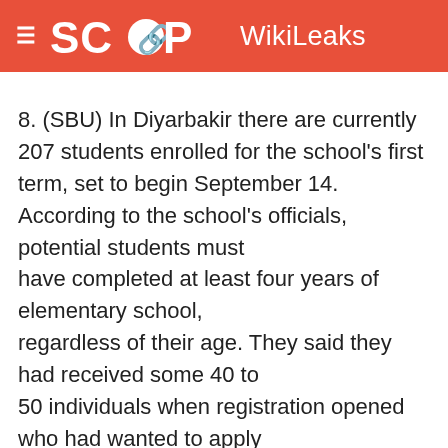SCOOP WikiLeaks
8. (SBU) In Diyarbakir there are currently 207 students enrolled for the school's first term, set to begin September 14. According to the school's officials, potential students must have completed at least four years of elementary school, regardless of their age. They said they had received some 40 to 50 individuals when registration opened who had wanted to apply since they had "waited a lifetime to learn their language in school," but they were turned away because they had